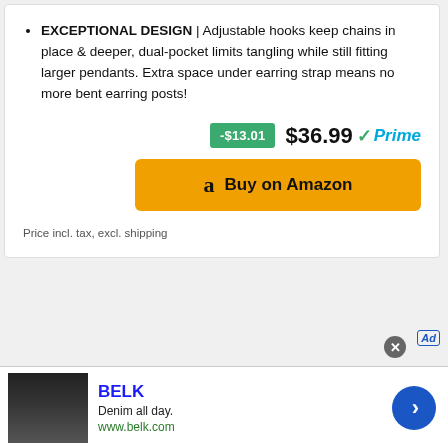EXCEPTIONAL DESIGN | Adjustable hooks keep chains in place & deeper, dual-pocket limits tangling while still fitting larger pendants. Extra space under earring strap means no more bent earring posts!
-$13.01  $36.99 ✓Prime  Buy on Amazon
Price incl. tax, excl. shipping
[Figure (screenshot): BELK advertisement banner with denim promotion. Shows 'BELK', 'Denim all day.', 'www.belk.com', a photo of people in denim, and a blue arrow navigation button.]